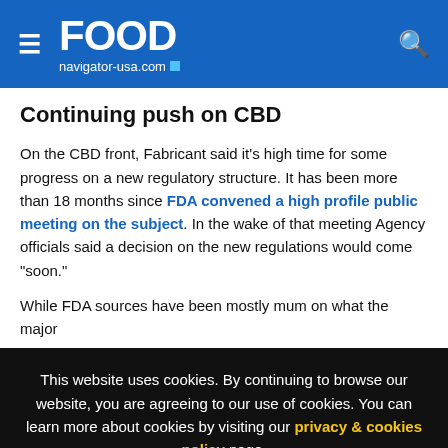FOOD navigator-usa.com
Continuing push on CBD
On the CBD front, Fabricant said it’s high time for some progress on a new regulatory structure. It has been more than 18 months since FDA convened a high profile public meeting on the subject. In the wake of that meeting Agency officials said a decision on the new regulations would come “soon.”
While FDA sources have been mostly mum on what the major
This website uses cookies. By continuing to browse our website, you are agreeing to our use of cookies. You can learn more about cookies by visiting our privacy & cookies policy page.
I Agree